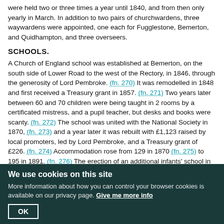were held two or three times a year until 1840, and from then only yearly in March. In addition to two pairs of churchwardens, three waywardens were appointed, one each for Fugglestone, Bemerton, and Quidhampton, and three overseers.
SCHOOLS.
A Church of England school was established at Bemerton, on the south side of Lower Road to the west of the Rectory, in 1846, through the generosity of Lord Pembroke. (fn. 270) It was remodelled in 1848 and first received a Treasury grant in 1857. (fn. 271) Two years later between 60 and 70 children were being taught in 2 rooms by a certificated mistress, and a pupil teacher, but desks and books were scanty. (fn. 272) The school was united with the National Society in 1870, (fn. 273) and a year later it was rebuilt with £1,123 raised by local promoters, led by Lord Pembroke, and a Treasury grant of £226. (fn. 274) Accommodation rose from 129 in 1870 (fn. 275) to 195 in 1891. (fn. 276) The erection of an additional infants' school in 1902 increased the accommodation to 253 but it was reduced to 223 in 1910. (fn. 277) By 1912 the mixed department had been enlarged at the expense of the infants, but the average attendance exceeded the recognized accommodation. From
We use cookies on this site
More information about how you can control your browser cookies is available on our privacy page. Give me more info
OK